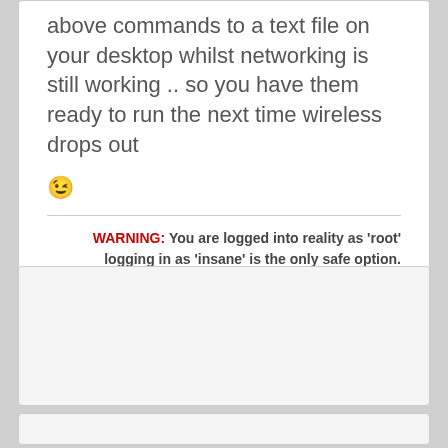above commands to a text file on your desktop whilst networking is still working .. so you have them ready to run the next time wireless drops out
😉
WARNING: You are logged into reality as 'root' logging in as 'insane' is the only safe option. pcnetspec.co.uk